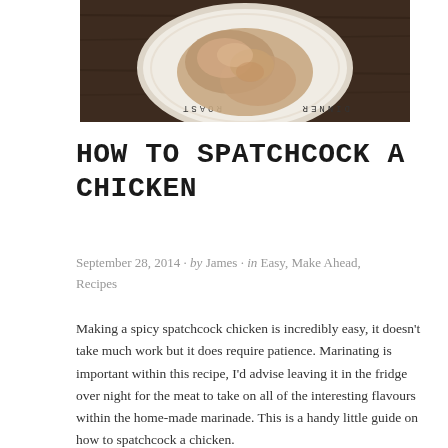[Figure (photo): Photo of a spatchcock chicken on a decorative plate with text around the rim, placed on a dark wooden surface]
HOW TO SPATCHCOCK A CHICKEN
September 28, 2014 · by James · in Easy, Make Ahead, Recipes
Making a spicy spatchcock chicken is incredibly easy, it doesn't take much work but it does require patience. Marinating is important within this recipe, I'd advise leaving it in the fridge over night for the meat to take on all of the interesting flavours within the home-made marinade. This is a handy little guide on how to spatchcock a chicken.